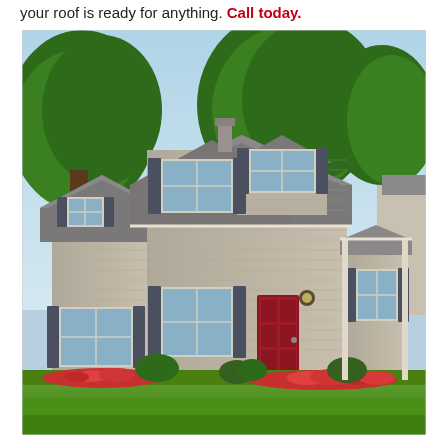your roof is ready for anything. Call today.
[Figure (photo): Photograph of a two-story suburban house with gray siding, dark shutters, a red front door, gray shingled roof, surrounded by green trees, lawn, and pink flower beds.]